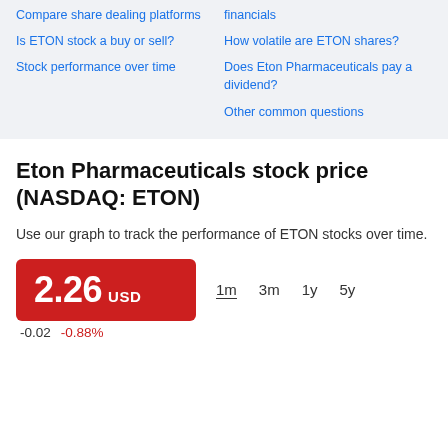Compare share dealing platforms
Is ETON stock a buy or sell?
Stock performance over time
financials
How volatile are ETON shares?
Does Eton Pharmaceuticals pay a dividend?
Other common questions
Eton Pharmaceuticals stock price (NASDAQ: ETON)
Use our graph to track the performance of ETON stocks over time.
2.26 USD
-0.02   -0.88%